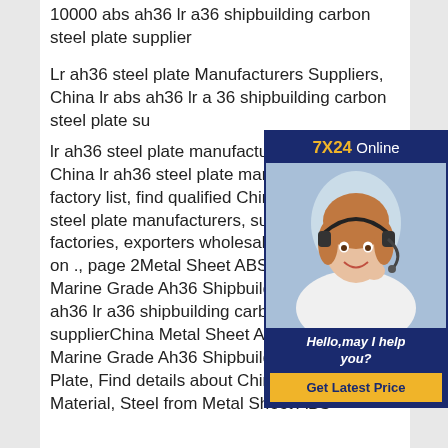10000 abs ah36 lr a36 shipbuilding carbon steel plate supplier
Lr ah36 steel plate Manufacturers Suppliers, China lr abs ah36 lr a36 shipbuilding carbon steel plate su...
lr ah36 steel plate manufacturer/supplier, China lr ah36 steel plate manufacturer factory list, find qualified Chinese steel plate manufacturers, suppliers, factories, exporters wholesalers on ., page 2Metal Sheet ABS Grade a Marine Grade Ah36 Shipbuilding abs ah36 lr a36 shipbuilding carbon steel plate supplierChina Metal Sheet ABS Grade a Marine Grade Ah36 Shipbuilding Steel Plate, Find details about China Building Material, Steel from Metal Sheet ABS
[Figure (other): Customer service popup widget showing a woman with a headset, 7X24 Online banner at top, Hello may I help you text, and Get Latest Price button]